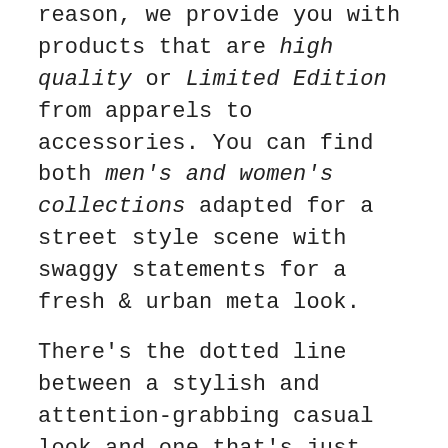reason, we provide you with products that are high quality or Limited Edition from apparels to accessories. You can find both men's and women's collections adapted for a street style scene with swaggy statements for a fresh & urban meta look.
There's the dotted line between a stylish and attention-grabbing casual look and one that's just too much, we will never allow you to cross that line. To ensure that you always kick things off on a positive note with whomever you're meeting, we have found the time (and desire) for starting our new website where you can find the whole Urban Society universe! Also, from our history and philosophy in relation to fashion and new designs, we want to spice up our fashion world and for that reason, we have prepared for you fresh blogs every week in which we will chat